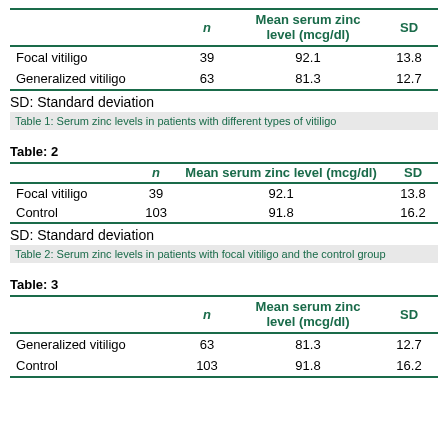|  | n | Mean serum zinc level (mcg/dl) | SD |
| --- | --- | --- | --- |
| Focal vitiligo | 39 | 92.1 | 13.8 |
| Generalized vitiligo | 63 | 81.3 | 12.7 |
SD: Standard deviation
Table 1: Serum zinc levels in patients with different types of vitiligo
Table: 2
|  | n | Mean serum zinc level (mcg/dl) | SD |
| --- | --- | --- | --- |
| Focal vitiligo | 39 | 92.1 | 13.8 |
| Control | 103 | 91.8 | 16.2 |
SD: Standard deviation
Table 2: Serum zinc levels in patients with focal vitiligo and the control group
Table: 3
|  | n | Mean serum zinc level (mcg/dl) | SD |
| --- | --- | --- | --- |
| Generalized vitiligo | 63 | 81.3 | 12.7 |
| Control | 103 | 91.8 | 16.2 |